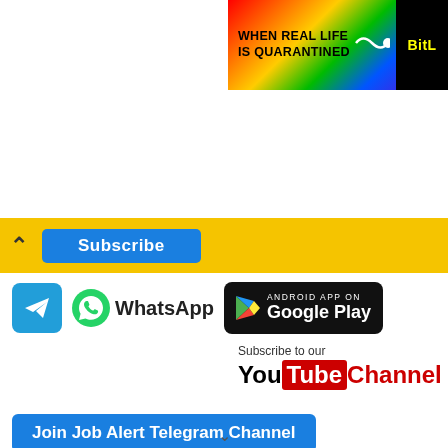[Figure (screenshot): Colorful rainbow advertisement banner with text WHEN REAL LIFE IS QUARANTINED and BitL logo on the right]
[Figure (screenshot): Yellow subscription bar with up chevron and blue Subscribe button]
[Figure (screenshot): Telegram icon, WhatsApp icon with text, and Google Play Store badge]
[Figure (screenshot): Subscribe to our YouTube Channel badge]
Join Job Alert Telegram Channel
AIIMS Nagpur Recruitment for following posts: